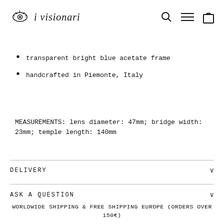i visionari — logo with eye icon, search, menu, cart icons
transparent bright blue acetate frame
handcrafted in Piemonte, Italy
MEASUREMENTS: lens diameter: 47mm; bridge width: 23mm; temple length: 140mm
DELIVERY
ASK A QUESTION
WORLDWIDE SHIPPING & FREE SHIPPING EUROPE (ORDERS OVER 150€)